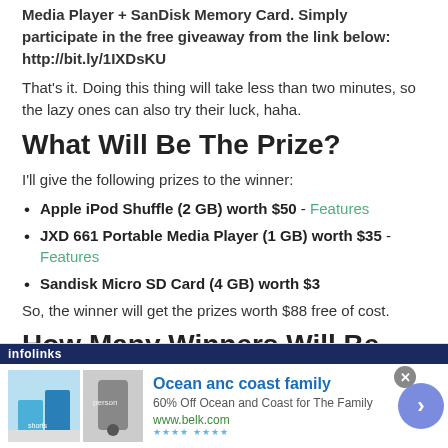Media Player + SanDisk Memory Card. Simply participate in the free giveaway from the link below:
http://bit.ly/1IXDsKU
That's it. Doing this thing will take less than two minutes, so the lazy ones can also try their luck, haha.
What Will Be The Prize?
I'll give the following prizes to the winner:
Apple iPod Shuffle (2 GB) worth $50 - Features
JXD 661 Portable Media Player (1 GB) worth $35 - Features
Sandisk Micro SD Card (4 GB) worth $3
So, the winner will get the prizes worth $88 free of cost.
How Many Winners Will Be Selected?
I'll choose only one winner for the prizes and the prizes will be sent to that
[Figure (infographic): Infolinks advertisement banner for Ocean anc coast family, 60% Off Ocean and Coast for The Family, www.belk.com]